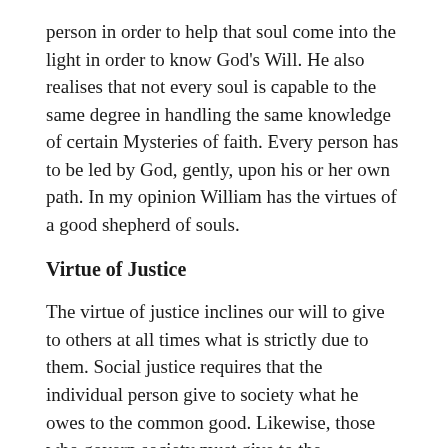person in order to help that soul come into the light in order to know God's Will. He also realises that not every soul is capable to the same degree in handling the same knowledge of certain Mysteries of faith. Every person has to be led by God, gently, upon his or her own path. In my opinion William has the virtues of a good shepherd of souls.
Virtue of Justice
The virtue of justice inclines our will to give to others at all times what is strictly due to them. Social justice requires that the individual person give to society what he owes to the common good. Likewise, those who govern society must give to the individual person what is their due through a fair distribution of the social